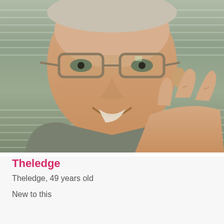[Figure (photo): A man smiling and holding up two fingers close to his face, wearing glasses and a grey shirt, with horizontal blinds in the background.]
Theledge
Theledge, 49 years old
New to this